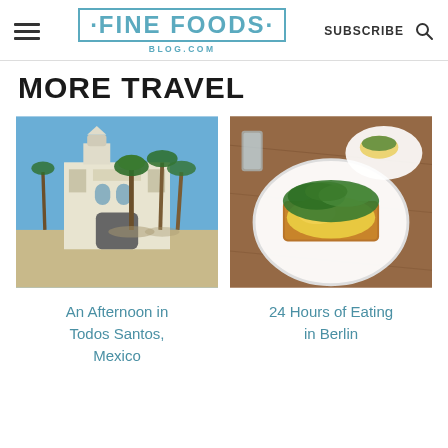FINE FOODS BLOG.COM | SUBSCRIBE
MORE TRAVEL
[Figure (photo): Street view of a white colonial church or mission building with palm trees in a sunny plaza, Todos Santos, Mexico]
An Afternoon in Todos Santos, Mexico
[Figure (photo): Close-up of a brunch plate with eggs and arugula salad on toast, served on a white plate on a wooden table, Berlin]
24 Hours of Eating in Berlin